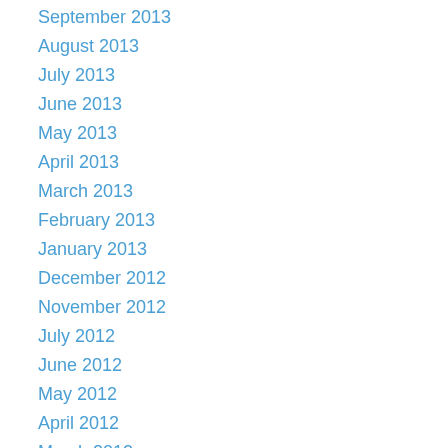September 2013
August 2013
July 2013
June 2013
May 2013
April 2013
March 2013
February 2013
January 2013
December 2012
November 2012
July 2012
June 2012
May 2012
April 2012
March 2012
February 2012
January 2012
October 2011
September 2011